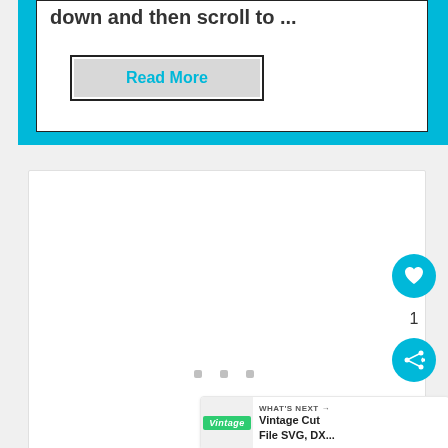down and then scroll to ...
Read More
[Figure (screenshot): A white card UI element with a 'Read More' button styled in cyan text on a grey background, bordered by a cyan accent bar]
[Figure (screenshot): A white content card placeholder with three pagination dots, a heart/like button showing count 1, a share button, and a 'WHAT'S NEXT' banner showing Vintage Cut File SVG, DX...]